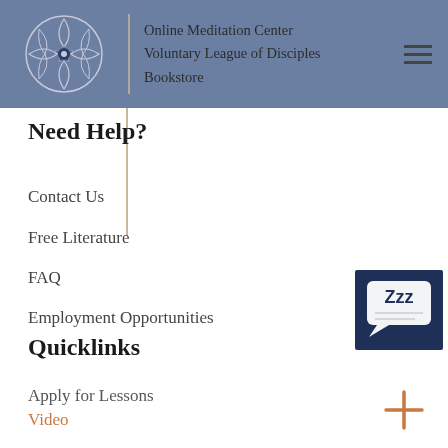Online Meditation Center | Voluntary League of Disciples | Bookstore
Need Help?
Contact Us
Free Literature
FAQ
Employment Opportunities
[Figure (illustration): Dark navy blue square icon with a sleeping/zzz chat bubble symbol in white]
Quicklinks
Apply for Lessons
Video
[Figure (illustration): Orange plus/add button icon]